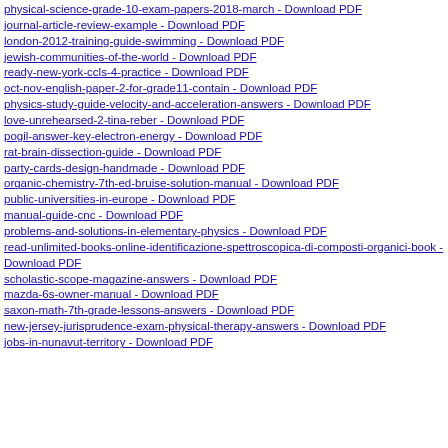physical-science-grade-10-exam-papers-2018-march - Download PDF
journal-article-review-example - Download PDF
london-2012-training-guide-swimming - Download PDF
jewish-communities-of-the-world - Download PDF
ready-new-york-ccls-4-practice - Download PDF
oct-nov-english-paper-2-for-grade11-contain - Download PDF
physics-study-guide-velocity-and-acceleration-answers - Download PDF
love-unrehearsed-2-tina-reber - Download PDF
pogil-answer-key-electron-energy - Download PDF
rat-brain-dissection-guide - Download PDF
party-cards-design-handmade - Download PDF
organic-chemistry-7th-ed-bruise-solution-manual - Download PDF
public-universities-in-europe - Download PDF
manual-guide-cnc - Download PDF
problems-and-solutions-in-elementary-physics - Download PDF
read-unlimited-books-online-identificazione-spettroscopica-di-composti-organici-book - Download PDF
scholastic-scope-magazine-answers - Download PDF
mazda-6s-owner-manual - Download PDF
saxon-math-7th-grade-lessons-answers - Download PDF
new-jersey-jurisprudence-exam-physical-therapy-answers - Download PDF
jobs-in-nunavut-territory - Download PDF